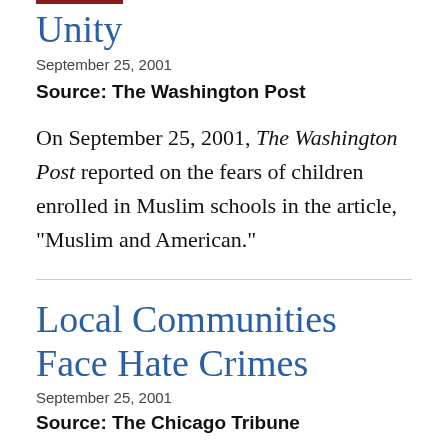Unity
September 25, 2001
Source: The Washington Post
On September 25, 2001, The Washington Post reported on the fears of children enrolled in Muslim schools in the article, "Muslim and American."
Local Communities Face Hate Crimes
September 25, 2001
Source: The Chicago Tribune